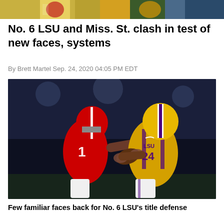[Figure (photo): Top banner strip showing a cropped sports photo with yellow/gold and green colors]
No. 6 LSU and Miss. St. clash in test of new faces, systems
By Brett Martel Sep. 24, 2020 04:05 PM EDT
[Figure (photo): Football action photo showing an LSU player #24 in gold/purple uniform catching or fighting for the ball against a Georgia player #1 in red uniform, stadium in dark background]
Few familiar faces back for No. 6 LSU's title defense